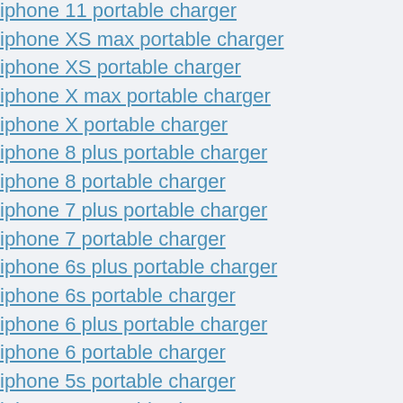iphone 11 portable charger
iphone XS max portable charger
iphone XS portable charger
iphone X max portable charger
iphone X portable charger
iphone 8 plus portable charger
iphone 8 portable charger
iphone 7 plus portable charger
iphone 7 portable charger
iphone 6s plus portable charger
iphone 6s portable charger
iphone 6 plus portable charger
iphone 6 portable charger
iphone 5s portable charger
iphone 5c portable charger
iphone 5 portable charger
iphone 4s portable charger
iphone 4 portable charger